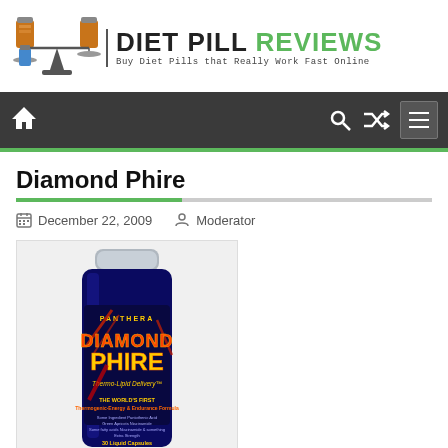[Figure (logo): Diet Pill Reviews website logo with scale/balance icon and text 'DIET PILL REVIEWS' and tagline 'Buy Diet Pills that Really Work Fast Online']
Navigation bar with home icon, search icon, shuffle icon, and menu button
Diamond Phire
December 22, 2009  Moderator
[Figure (photo): Supplement bottle labeled 'Diamond Phire' by Panthera - Thermo-Lipid Delivery, THE WORLD'S FIRST Thermogenic-Energy & Endurance Formula, 30 Liquid Capsules]